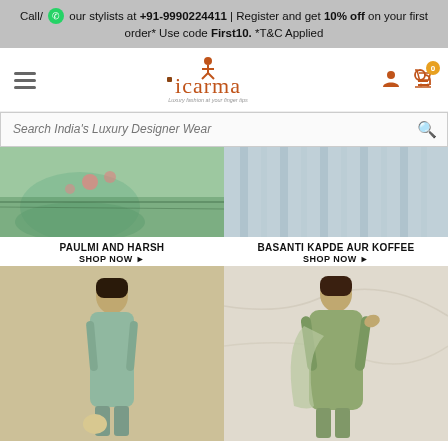Call/ [WhatsApp] our stylists at +91-9990224411 | Register and get 10% off on your first order* Use code First10. *T&C Applied
[Figure (logo): icarma logo with tagline 'Luxury fashion at your finger tips']
Search India's Luxury Designer Wear
[Figure (photo): Paulmi and Harsh fashion collection - mint green ethnic wear on grass]
PAULMI AND HARSH
SHOP NOW ▶
[Figure (photo): Basanti Kapde Aur Koffee - grey dupatta/fabric detail]
BASANTI KAPDE AUR KOFFEE
SHOP NOW ▶
[Figure (photo): Woman in mint green kurta suit with potli bag]
[Figure (photo): Woman in green embroidered jacket set with dupatta]